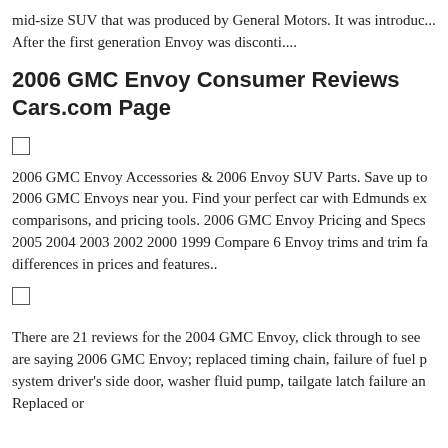mid-size SUV that was produced by General Motors. It was introduc... After the first generation Envoy was disconti....
2006 GMC Envoy Consumer Reviews Cars.com Page
[Figure (other): Checkbox (unchecked)]
2006 GMC Envoy Accessories & 2006 Envoy SUV Parts. Save up to... 2006 GMC Envoys near you. Find your perfect car with Edmunds ex... comparisons, and pricing tools. 2006 GMC Envoy Pricing and Specs... 2005 2004 2003 2002 2000 1999 Compare 6 Envoy trims and trim fa... differences in prices and features..
[Figure (other): Checkbox (unchecked)]
There are 21 reviews for the 2004 GMC Envoy, click through to see... are saying 2006 GMC Envoy; replaced timing chain, failure of fuel p... system driver's side door, washer fluid pump, tailgate latch failure an... Replaced or